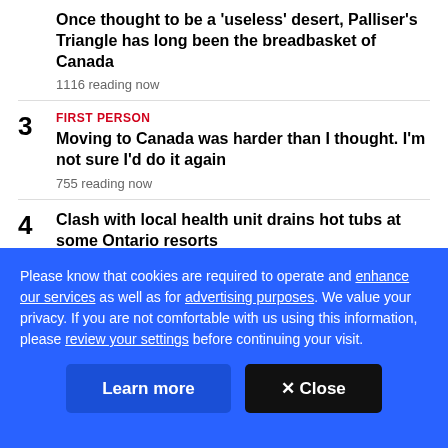Once thought to be a 'useless' desert, Palliser's Triangle has long been the breadbasket of Canada
1116 reading now
3 FIRST PERSON Moving to Canada was harder than I thought. I'm not sure I'd do it again
755 reading now
4 Clash with local health unit drains hot tubs at some Ontario resorts
718 reading now
Please know that cookies are required to operate and enhance our services as well as for advertising purposes. We value your privacy. If you are not comfortable with us using this information, please review your settings before continuing your visit.